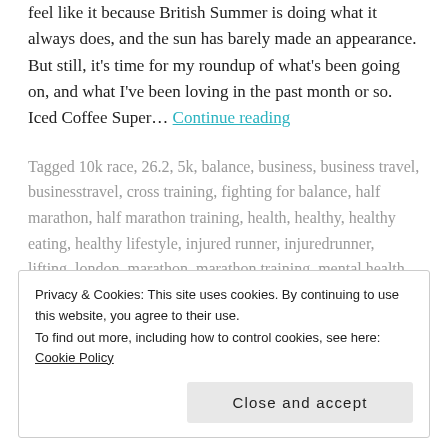feel like it because British Summer is doing what it always does, and the sun has barely made an appearance. But still, it's time for my roundup of what's been going on, and what I've been loving in the past month or so. Iced Coffee Super… Continue reading
Tagged 10k race, 26.2, 5k, balance, business, business travel, businesstravel, cross training, fighting for balance, half marathon, half marathon training, health, healthy, healthy eating, healthy lifestyle, injured runner, injuredrunner, lifting, london, marathon, marathon training, mental health, mexico, mindfulness, motivation, parkrun, playlist, race, race day, runner,
Privacy & Cookies: This site uses cookies. By continuing to use this website, you agree to their use.
To find out more, including how to control cookies, see here: Cookie Policy
Close and accept